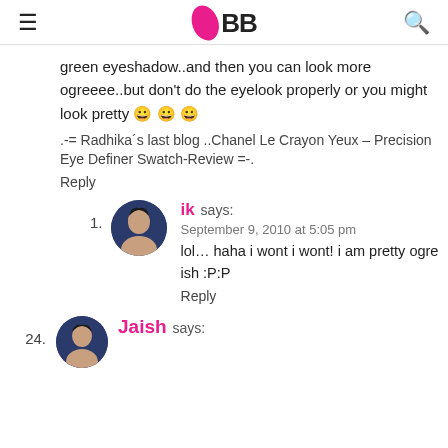IMBB logo header with hamburger menu and search icon
green eyeshadow..and then you can look more ogreeee..but don't do the eyelook properly or you might look pretty 😄 😄 😄
.-= Radhika's last blog ..Chanel Le Crayon Yeux – Precision Eye Definer Swatch-Review =-.
Reply
ik says:
September 9, 2010 at 5:05 pm
lol... haha i wont i wont! i am pretty ogre ish :P:P
Reply
24. Jaish says: